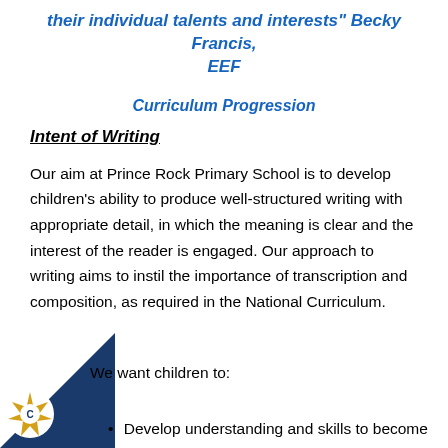their individual talents and interests" Becky Francis, EEF
Curriculum Progression
Intent of Writing
Our aim at Prince Rock Primary School is to develop children’s ability to produce well-structured writing with appropriate detail, in which the meaning is clear and the interest of the reader is engaged. Our approach to writing aims to instil the importance of transcription and composition, as required in the National Curriculum.
We want children to:
Develop understanding and skills to become